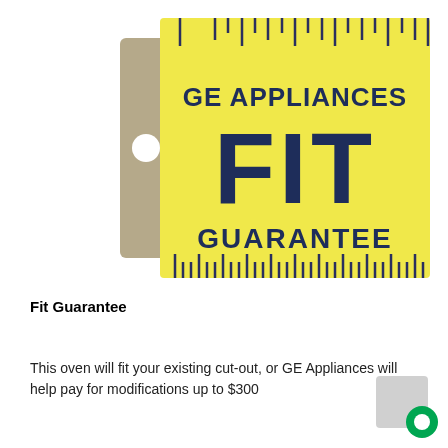[Figure (logo): GE Appliances FIT GUARANTEE logo styled as a yellow ruler/measurement tag with a tan tab on the left side containing a white circle hole. The tag has ruler tick marks along the top and bottom edges. The text 'GE APPLIANCES' appears in dark navy bold above the large bold letters 'FIT' and below that 'GUARANTEE' all in dark navy on a yellow background.]
Fit Guarantee
This oven will fit your existing cut-out, or GE Appliances will help pay for modifications up to $300